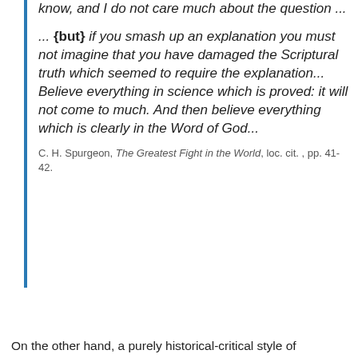know, and I do not care much about the question ...
... {but} if you smash up an explanation you must not imagine that you have damaged the Scriptural truth which seemed to require the explanation... Believe everything in science which is proved: it will not come to much. And then believe everything which is clearly in the Word of God...
C. H. Spurgeon, The Greatest Fight in the World, loc. cit. , pp. 41-42.
On the other hand, a purely historical-critical style of